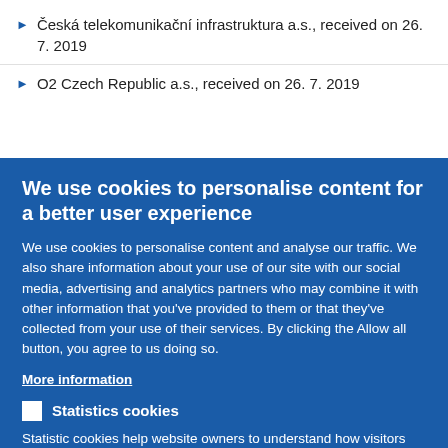Česká telekomunikační infrastruktura a.s., received on 26. 7. 2019
O2 Czech Republic a.s., received on 26. 7. 2019
We use cookies to personalise content for a better user experience
We use cookies to personalise content and analyse our traffic. We also share information about your use of our site with our social media, advertising and analytics partners who may combine it with other information that you've provided to them or that they've collected from your use of their services. By clicking the Allow all button, you agree to us doing so.
More information
Statistics cookies
Statistic cookies help website owners to understand how visitors interact with websites by collecting and reporting information anonymously.
ALLOW SELECTION